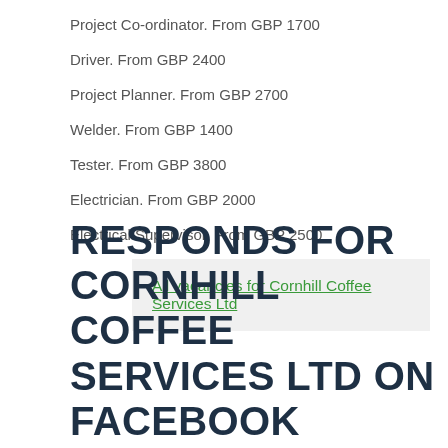Project Co-ordinator. From GBP 1700
Driver. From GBP 2400
Project Planner. From GBP 2700
Welder. From GBP 1400
Tester. From GBP 3800
Electrician. From GBP 2000
Electrical Supervisor. From GBP 2500
All vacancies for Cornhill Coffee Services Ltd
RESPONDS FOR CORNHILL COFFEE SERVICES LTD ON FACEBOOK